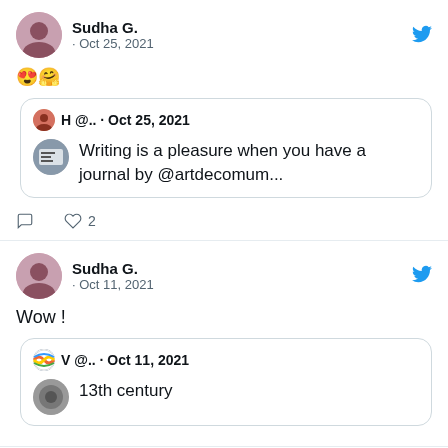[Figure (screenshot): Tweet by Sudha G. dated Oct 25, 2021 with heart-eyes and hugging emojis, quoting a tweet by H @.. Oct 25, 2021 saying 'Writing is a pleasure when you have a journal by @artdecomum...' with 2 likes]
😍🤗
Writing is a pleasure when you have a journal by @artdecomum...
[Figure (screenshot): Tweet by Sudha G. dated Oct 11, 2021 saying 'Wow !' quoting a tweet by V @.. Oct 11, 2021 about '13th century']